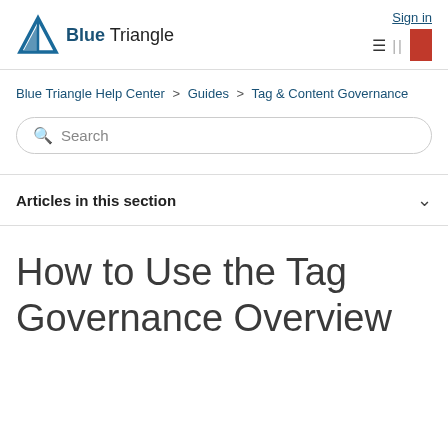[Figure (logo): Blue Triangle logo — blue triangle icon followed by text 'Blue Triangle']
Sign in
Blue Triangle Help Center > Guides > Tag & Content Governance
Search
Articles in this section
How to Use the Tag Governance Overview